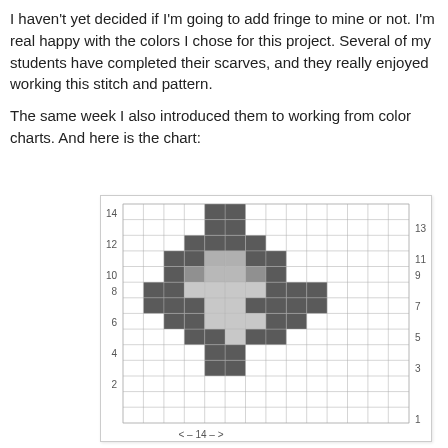I haven't yet decided if I'm going to add fringe to mine or not. I'm real happy with the colors I chose for this project. Several of my students have completed their scarves, and they really enjoyed working this stitch and pattern.

The same week I also introduced them to working from color charts. And here is the chart:
[Figure (other): A knitting color chart grid with row numbers on left (2,4,6,8,10,12,14) and right (1,3,5,7,9,11,13) sides. The grid shows a cross/diamond pattern made of dark gray and light gray squares on a white background. Navigation arrows and number 14 appear below.]